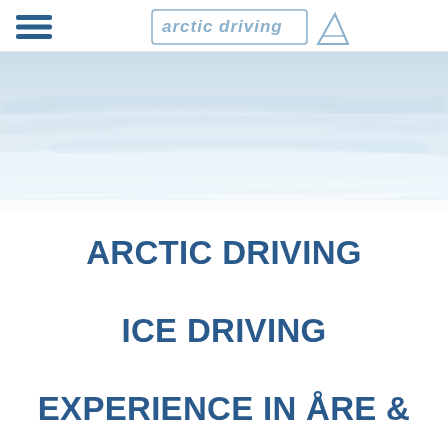[Figure (logo): Arctic Driving logo with mountain triangle icon and text 'arctic driving']
[Figure (photo): Hero banner image showing a snowy/icy landscape with light blue and white tones, sweeping snow surface]
ARCTIC DRIVING ICE DRIVING EXPERIENCE IN ÅRE & SÄLEN